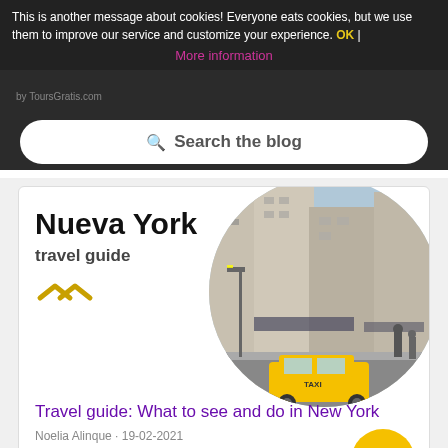This is another message about cookies! Everyone eats cookies, but we use them to improve our service and customize your experience. OK | More information
[Figure (screenshot): Search bar with magnifying glass icon and text 'Search the blog' on dark background]
[Figure (illustration): Nueva York travel guide card with NYC street scene showing yellow taxi and buildings in circular photo]
Travel guide: What to see and do in New York
Noelia Alinque · 19-02-2021
[Figure (photo): Partially visible card showing a building exterior at bottom of page]